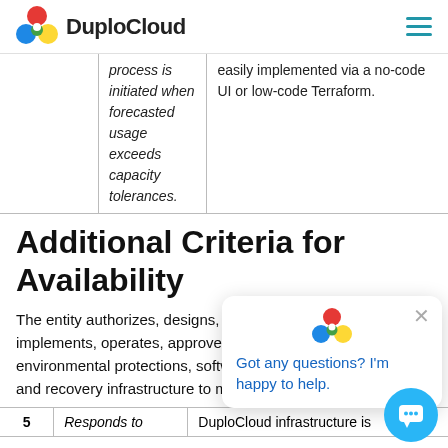DuploCloud
|  | Criteria | DuploCloud |
| --- | --- | --- |
|  | process is initiated when forecasted usage exceeds capacity tolerances. | easily implemented via a no-code UI or low-code Terraform. |
Additional Criteria for Availability
The entity authorizes, designs, develops or acquires, implements, operates, approves, maintains, and monitors environmental protections, software, data back-up procedures, and recovery infrastructure to meet its objectives.
| # | Criteria | DuploCloud |
| --- | --- | --- |
| 5 | Responds to | DuploCloud infrastructure is |